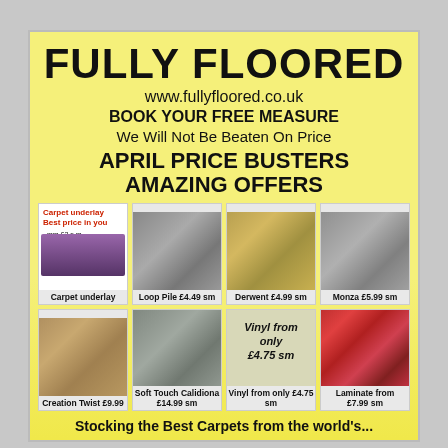FULLY FLOORED
www.fullyfloored.co.uk
BOOK YOUR FREE MEASURE
We Will Not Be Beaten On Price
APRIL PRICE BUSTERS AMAZING OFFERS
[Figure (photo): Carpet underlay advertisement showing purple carpet with prices: 8mm £2.s m, 10mm £2.50 sm, 12mm £3.00 sm]
Loop Pile £4.49 sm
Derwent £4.99 sm
Monza £5.99 sm
Creation Twist £9.99
Soft Touch Calidiona £14.99 sm
Vinyl from only £4.75 sm
Laminate from £7.99 sm
Stocking the Best Carpets from the world's...